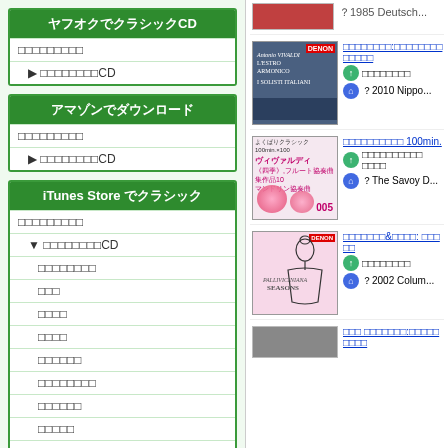ヤフオクでクラシックCD
□□□□□□□□□
▶ □□□□□□□□CD
アマゾンでダウンロード
□□□□□□□□□
▶ □□□□□□□□CD
iTunes Store でクラシック
□□□□□□□□□
▼ □□□□□□□□CD
□□□□□□□□
□□□
□□□□
□□□□
□□□□□□
□□□□□□□□
□□□□□□
□□□□□
□□□□□□□□□
□□□□
□□□□□
[Figure (photo): Top partial album image (red/fruit)]
？1985 Deutsch...
[Figure (photo): Vivaldi L'Estro Armonico album cover - I Solisti Italiani orchestra]
□□□□□□□□:□□□□□□□□□□□□□
□□□□□□□□
？2010 Nippo...
[Figure (photo): よくばりクラシック100min.×100 Vivaldi album cover]
□□□□□□□□□□ 100min.
□□□□□□□□□□ □□□□
？The Savoy D...
[Figure (photo): SEASONS violin lady sketch album cover]
□□□□□□□&□□□□: □□□□□
□□□□□□□□
？2002 Colum...
[Figure (photo): Bottom partial album image]
□□□ □□□□□□□:□□□□□□□□□